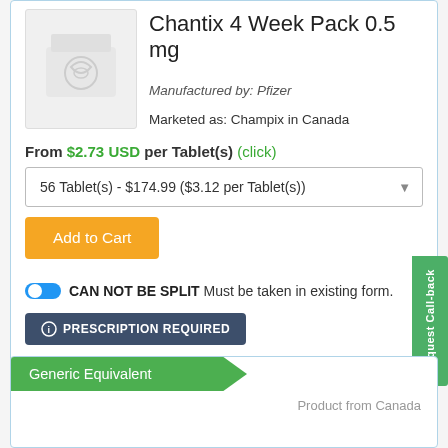Chantix 4 Week Pack 0.5 mg
Manufactured by: Pfizer
Marketed as: Champix in Canada
From $2.73 USD per Tablet(s) (click)
56 Tablet(s) - $174.99 ($3.12 per Tablet(s))
Add to Cart
CAN NOT BE SPLIT Must be taken in existing form.
PRESCRIPTION REQUIRED
Request Call-back
Generic Equivalent
Product from Canada